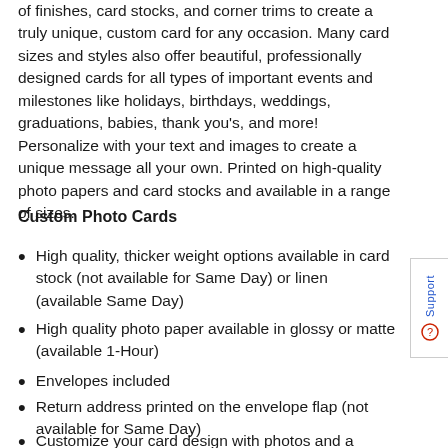of finishes, card stocks, and corner trims to create a truly unique, custom card for any occasion. Many card sizes and styles also offer beautiful, professionally designed cards for all types of important events and milestones like holidays, birthdays, weddings, graduations, babies, thank you's, and more! Personalize with your text and images to create a unique message all your own. Printed on high-quality photo papers and card stocks and available in a range of sizes.
Custom Photo Cards
High quality, thicker weight options available in card stock (not available for Same Day) or linen (available Same Day)
High quality photo paper available in glossy or matte (available 1-Hour)
Envelopes included
Return address printed on the envelope flap (not available for Same Day)
Customize your card design with photos and a personal